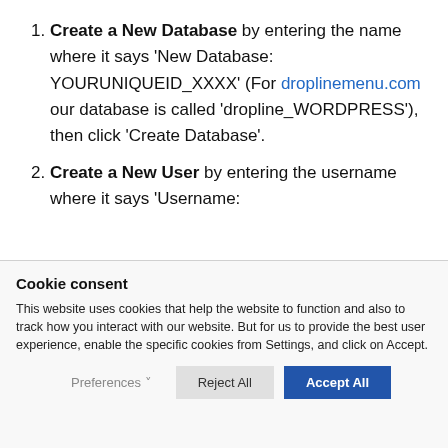Create a New Database by entering the name where it says 'New Database: YOURUNIQUEID_XXXX' (For droplinemenu.com our database is called 'dropline_WORDPRESS'), then click 'Create Database'.
Create a New User by entering the username where it says 'Username:
Cookie consent
This website uses cookies that help the website to function and also to track how you interact with our website. But for us to provide the best user experience, enable the specific cookies from Settings, and click on Accept.